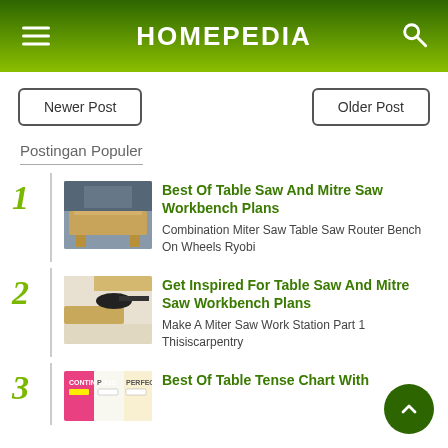HOMEPEDIA
Newer Post
Older Post
Postingan Populer
1 Best Of Table Saw And Mitre Saw Workbench Plans — Combination Miter Saw Table Saw Router Bench On Wheels Ryobi
2 Get Inspired For Table Saw And Mitre Saw Workbench Plans — Make A Miter Saw Work Station Part 1 Thisiscarpentry
3 Best Of Table Tense Chart With